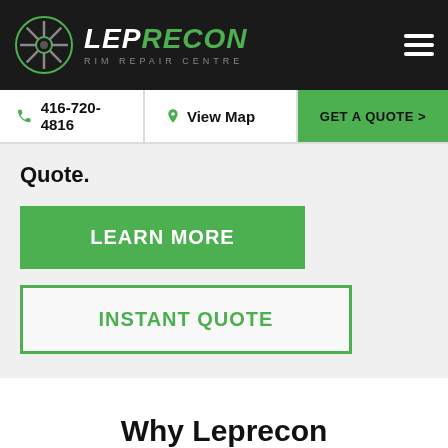LEPRECON RIM REPAIR CENTRE
Quote.
LEARN MORE
INSTANT QUOTE
Why Leprecon